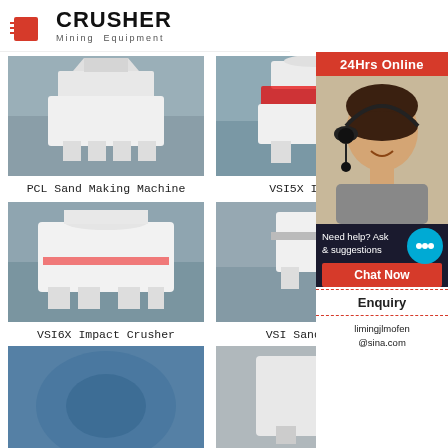[Figure (logo): Crusher Mining Equipment logo with red shopping bag icon and bold CRUSHER text]
[Figure (photo): PCL Sand Making Machine - white industrial crusher machine in factory]
PCL Sand Making Machine
[Figure (photo): VSI5X Impact Crusher - white industrial machine with red accent in factory]
VSI5X Impa...
[Figure (photo): VSI6X Impact Crusher - large white industrial machine in factory]
VSI6X Impact Crusher
[Figure (photo): VSI Sand Making Machine - white industrial machine in factory]
VSI Sand Ma...
[Figure (photo): Partial bottom image - blue machine]
[Figure (photo): Partial bottom image - white machine]
[Figure (infographic): 24Hrs Online customer service sidebar with woman wearing headset, Chat Now button, Enquiry section, and limingjlmofen@sina.com email]